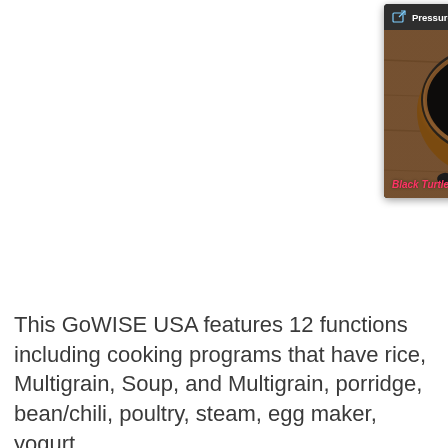[Figure (screenshot): Video widget popup with title bar showing 'Pressure Cooking and Soaking' and a close button. Thumbnail shows black turtle beans in a wooden bowl on a wooden surface with a play button overlay. Text overlay reads 'Black Turtle Bea' in pink/red italic.]
This GoWISE USA features 12 functions including cooking programs that have rice, Multigrain, Soup, and Multigrain, porridge, bean/chili, poultry, steam, egg maker, yogurt, slow cook, and nut/fra...